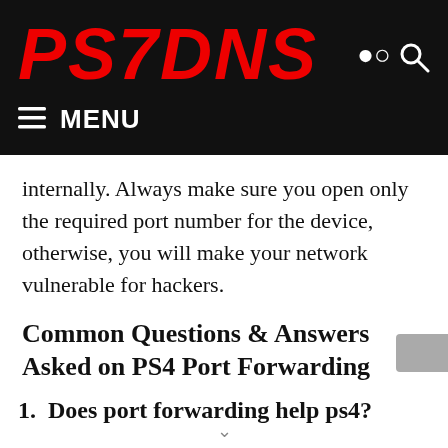PS7DNS
internally. Always make sure you open only the required port number for the device, otherwise, you will make your network vulnerable for hackers.
Common Questions & Answers Asked on PS4 Port Forwarding
1. Does port forwarding help ps4?